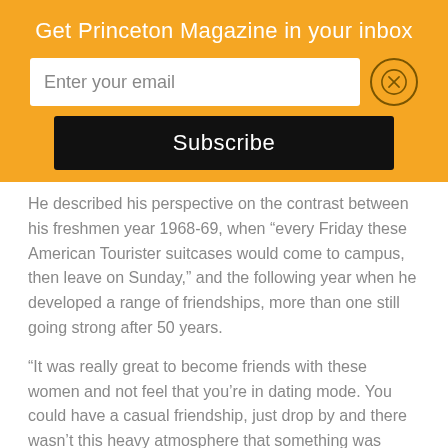Get Princeton Magazine in your inbox
He described his perspective on the contrast between his freshmen year 1968-69, when “every Friday these American Tourister suitcases would come to campus, then leave on Sunday,” and the following year when he developed a range of friendships, more than one still going strong after 50 years.
“It was really great to become friends with these women and not feel that you’re in dating mode. You could have a casual friendship, just drop by and there wasn’t this heavy atmosphere that something was going to happen. You could just talk.”
He added, “I appreciated that.  It helped me to get a better perspective. For me it was interesting to see the institution bend and flex in those early years — or at least try to.”